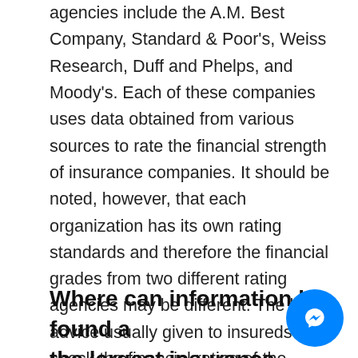agencies include the A.M. Best Company, Standard & Poor's, Weiss Research, Duff and Phelps, and Moody's. Each of these companies uses data obtained from various sources to rate the financial strength of insurance companies. It should be noted, however, that each organization has its own rating standards and therefore the financial grades from two different rating agencies may be different. The best advice usually given to insureds is to check the financial rating of the insurer from as many rating agencies as possible to determine the range of opinions of the financial health of the company.
Where can information be found about the largest insurance companies in the